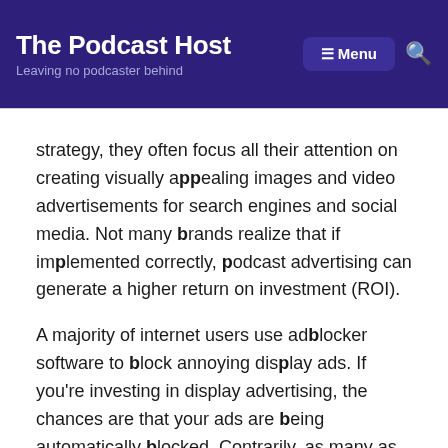The Podcast Host — Leaving no podcaster behind
strategy, they often focus all their attention on creating visually appealing images and video advertisements for search engines and social media. Not many brands realize that if implemented correctly, podcast advertising can generate a higher return on investment (ROI).
A majority of internet users use adblocker software to block annoying display ads. If you're investing in display advertising, the chances are that your ads are being automatically blocked. Contrarily, as many as 78% of podcast listeners approve of podcast ads. This results in better engagement and improved